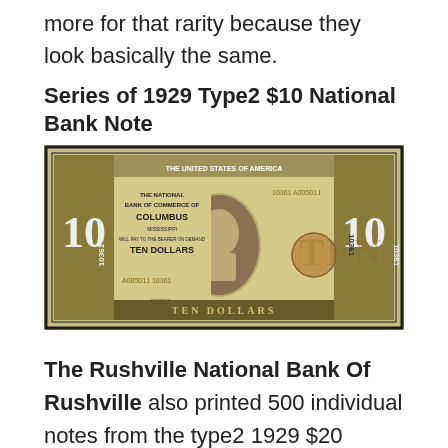more for that rarity because they look basically the same.
Series of 1929 Type2 $10 National Bank Note
[Figure (photo): Photo of a Series of 1929 Type2 $10 National Bank Note from The National Bank of Commerce of Columbus, Mississippi, charter number 10361, serial number A005011.]
The Rushville National Bank Of Rushville also printed 500 individual notes from the type2 1929 $20 national bank note series. Type2 1929 national bank notes are already rare to begin with. A printing of less than 1,000 is especially low. One of the great things about 1929 type2 $20 national bank notes is that they really aren't that old and some can be extremely rare. Until the big head $20 series started the...